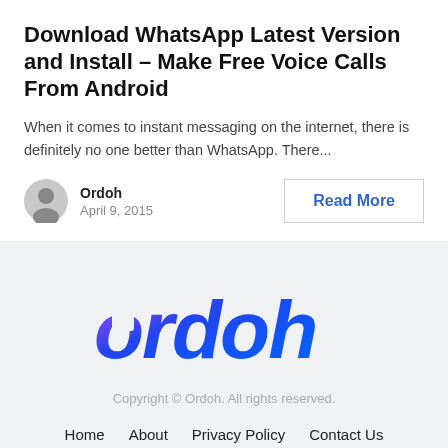Download WhatsApp Latest Version and Install – Make Free Voice Calls From Android
When it comes to instant messaging on the internet, there is definitely no one better than WhatsApp. There...
Ordoh
April 9, 2015
Read More
[Figure (logo): Ordoh logo in blue and purple gradient stylized text]
Copyright © Ordoh. All rights reserved.
Home   About   Privacy Policy   Contact Us